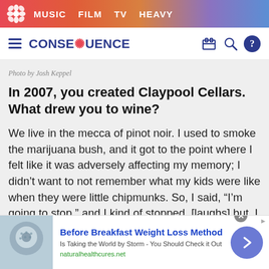MUSIC  FILM  TV  HEAVY
CONSEQUENCE
Photo by Josh Keppel
In 2007, you created Claypool Cellars. What drew you to wine?
We live in the mecca of pinot noir. I used to smoke the marijuana bush, and it got to the point where I felt like it was adversely affecting my memory; I didn't want to not remember what my kids were like when they were little chipmunks. So, I said, “I’m going to stop,” and I kind of stopped, [laughs] but, I needed a vice.
[Figure (screenshot): Advertisement banner: Before Breakfast Weight Loss Method - Is Taking the World by Storm - You Should Check it Out. naturalhealthcures.net]